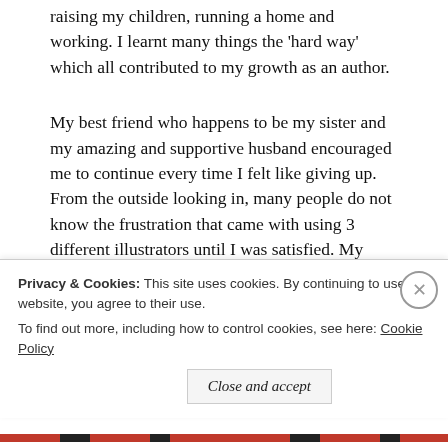raising my children, running a home and working. I learnt many things the 'hard way' which all contributed to my growth as an author.
My best friend who happens to be my sister and my amazing and supportive husband encouraged me to continue every time I felt like giving up. From the outside looking in, many people do not know the frustration that came with using 3 different illustrators until I was satisfied. My most influential audience were my children who contributed their unique ideas and
Privacy & Cookies: This site uses cookies. By continuing to use this website, you agree to their use.
To find out more, including how to control cookies, see here: Cookie Policy
Close and accept